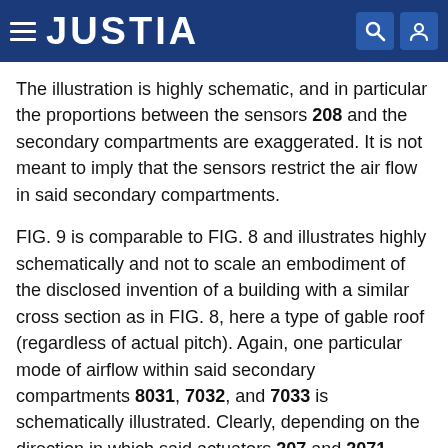JUSTIA
The illustration is highly schematic, and in particular the proportions between the sensors 208 and the secondary compartments are exaggerated. It is not meant to imply that the sensors restrict the air flow in said secondary compartments.
FIG. 9 is comparable to FIG. 8 and illustrates highly schematically and not to scale an embodiment of the disclosed invention of a building with a similar cross section as in FIG. 8, here a type of gable roof (regardless of actual pitch). Again, one particular mode of airflow within said secondary compartments 8031, 7032, and 7033 is schematically illustrated. Clearly, depending on the direction in which said actuators 207 and 2071 permit or drive air flow, various combinations are possible, in which direction air flow through the individual secondary compartments can occur